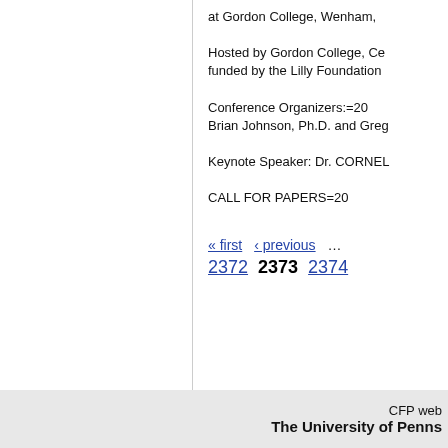at Gordon College, Wenham,
Hosted by Gordon College, Ce... funded by the Lilly Foundation
Conference Organizers:=20
Brian Johnson, Ph.D. and Greg
Keynote Speaker: Dr. CORNEL
CALL FOR PAPERS=20
« first ‹ previous ... 2372 2373 2374
CFP web
The University of Penns